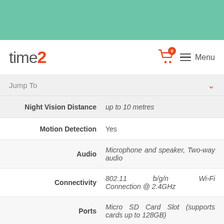[Figure (screenshot): Teal/green header banner at top of webpage]
time2 — Menu (navigation bar with cart icon)
Jump To
| Specification | Value |
| --- | --- |
| Night Vision Distance | up to 10 metres |
| Motion Detection | Yes |
| Audio | Microphone and speaker, Two-way audio |
| Connectivity | 802.11 b/g/n Wi-Fi Connection @ 2.4GHz |
| Ports | Micro SD Card Slot (supports cards up to 128GB) |